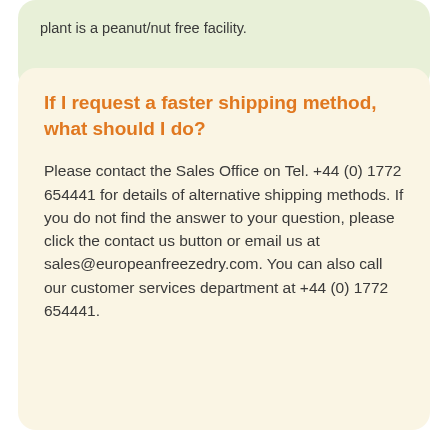plant is a peanut/nut free facility.
If I request a faster shipping method, what should I do?
Please contact the Sales Office on Tel. +44 (0) 1772 654441 for details of alternative shipping methods. If you do not find the answer to your question, please click the contact us button or email us at sales@europeanfreezedry.com. You can also call our customer services department at +44 (0) 1772 654441.